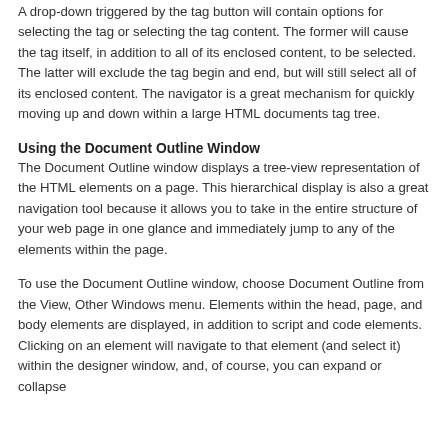A drop-down triggered by the tag button will contain options for selecting the tag or selecting the tag content. The former will cause the tag itself, in addition to all of its enclosed content, to be selected. The latter will exclude the tag begin and end, but will still select all of its enclosed content. The navigator is a great mechanism for quickly moving up and down within a large HTML documents tag tree.
Using the Document Outline Window
The Document Outline window displays a tree-view representation of the HTML elements on a page. This hierarchical display is also a great navigation tool because it allows you to take in the entire structure of your web page in one glance and immediately jump to any of the elements within the page.
To use the Document Outline window, choose Document Outline from the View, Other Windows menu. Elements within the head, page, and body elements are displayed, in addition to script and code elements. Clicking on an element will navigate to that element (and select it) within the designer window, and, of course, you can expand or collapse